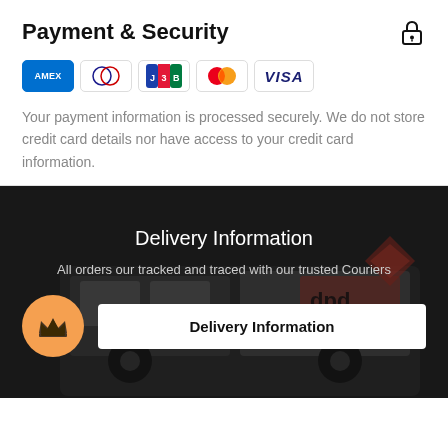Payment & Security
[Figure (logo): Payment method icons: American Express (AMEX), Diners Club, JCB, Mastercard, Visa]
Your payment information is processed securely. We do not store credit card details nor have access to your credit card information.
[Figure (photo): Delivery Information section with dark overlay showing a delivery van (DPD). Title: 'Delivery Information'. Subtitle: 'All orders our tracked and traced with our trusted Couriers'. Orange crown circle icon on left. White button labeled 'Delivery Information'.]